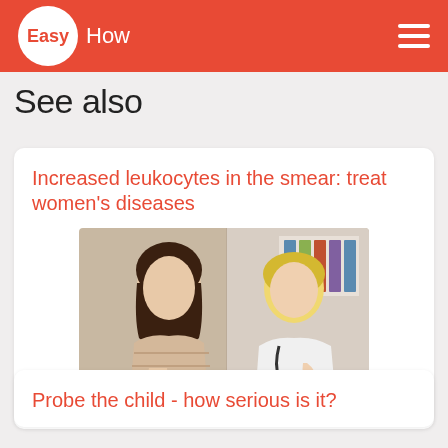EasyHow
See also
Increased leukocytes in the smear: treat women's diseases
[Figure (photo): A pregnant woman and a female doctor sitting at a desk, the doctor writing notes, in a medical office setting]
Probe the child - how serious is it?